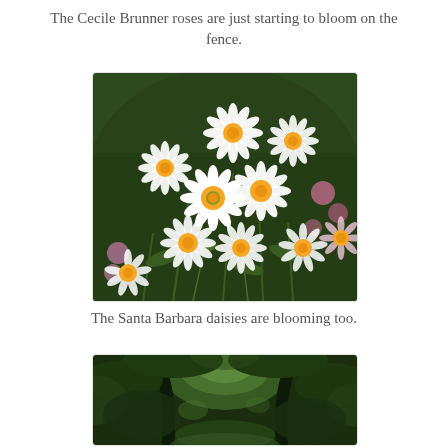The Cecile Brunner roses are just starting to bloom on the fence.
[Figure (photo): Close-up photograph of white Santa Barbara daisies with yellow centers blooming among green stems and foliage, with some pink flowers visible in the background.]
The Santa Barbara daisies are blooming too.
[Figure (photo): Photograph of a garden arch or arbor covered in lush green foliage and trees, creating a tunnel-like shaded walkway.]